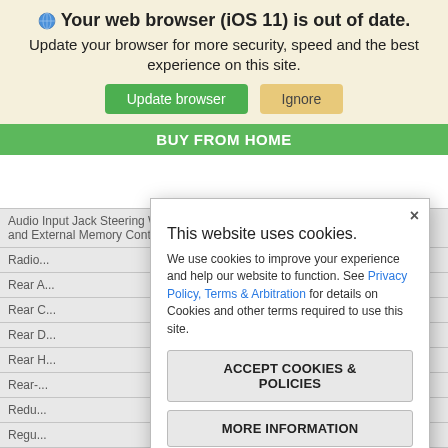Your web browser (iOS 11) is out of date.
Update your browser for more security, speed and the best experience on this site.
[Figure (screenshot): Two buttons: 'Update browser' (green) and 'Ignore' (tan/orange)]
BUY FROM HOME
| Audio Input Jack Steering Wheel Controls Voice Activation Radio Data System and External Memory Control |
| Radio... |
| Rear... |
| Rear... |
| Rear... |
| Rear... |
| Rear-... |
| Redu... |
| Regu... |
| Remo... ...ted Entry... |
[Figure (screenshot): Cookie consent modal dialog with title 'This website uses cookies.', body text about privacy policy and cookies, 'ACCEPT COOKIES & POLICIES' button, 'MORE INFORMATION' button, and 'Privacy Policy' link at the bottom.]